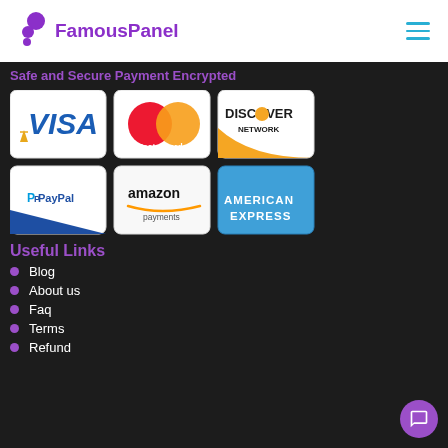FamousPanel
Safe and Secure Payment Encrypted
[Figure (illustration): Payment method logos: Visa, MasterCard, Discover Network, PayPal, Amazon Payments, American Express]
Useful Links
Blog
About us
Faq
Terms
Refund